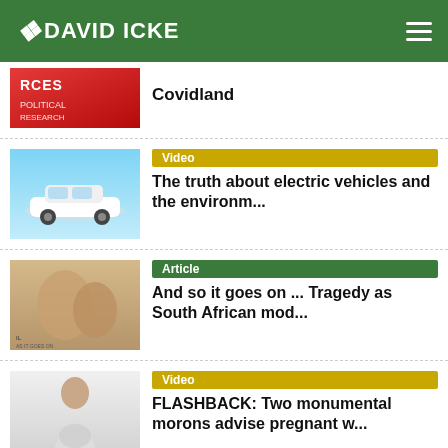DAVID ICKE
South Cross – Dominions Vaders Covidland
Video – The truth about electric vehicles and the environm...
Article – And so it goes on ... Tragedy as South African mod...
Video – FLASHBACK: Two monumental morons advise pregnant w...
Article – The Trap Audiobook Narrated By David Icke Is Avail...